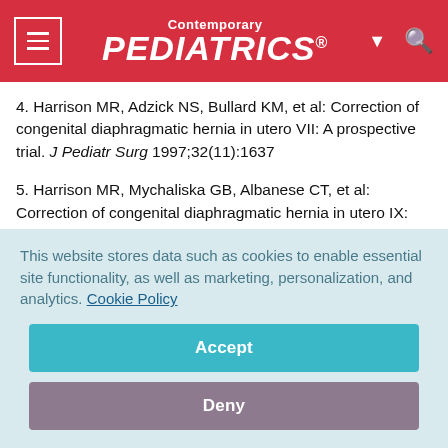Contemporary PEDIATRICS
4. Harrison MR, Adzick NS, Bullard KM, et al: Correction of congenital diaphragmatic hernia in utero VII: A prospective trial. J Pediatr Surg 1997;32(11):1637
5. Harrison MR, Mychaliska GB, Albanese CT, et al: Correction of congenital diaphragmatic hernia in utero IX: Fetuses with poor prognosis (liver herniation and low lung-to-head ratio) can be save by fetoscopic temporary tracheal occlusion. J
This website stores data such as cookies to enable essential site functionality, as well as marketing, personalization, and analytics. Cookie Policy